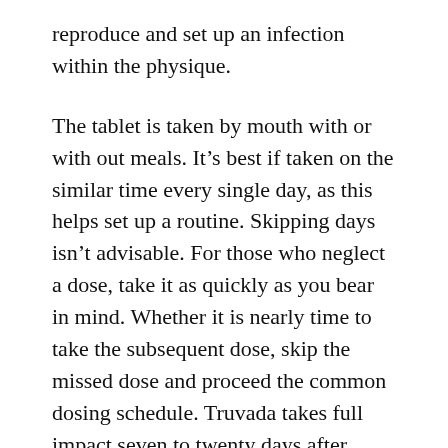reproduce and set up an infection within the physique.
The tablet is taken by mouth with or with out meals. It’s best if taken on the similar time every single day, as this helps set up a routine. Skipping days isn’t advisable. For those who neglect a dose, take it as quickly as you bear in mind. Whether it is nearly time to take the subsequent dose, skip the missed dose and proceed the common dosing schedule. Truvada takes full impact seven to twenty days after beginning the medicine. It may be discontinued each time the safety it presents isn’t vital (for instance, in case your threat for HIV or preferences change). Do speak to your